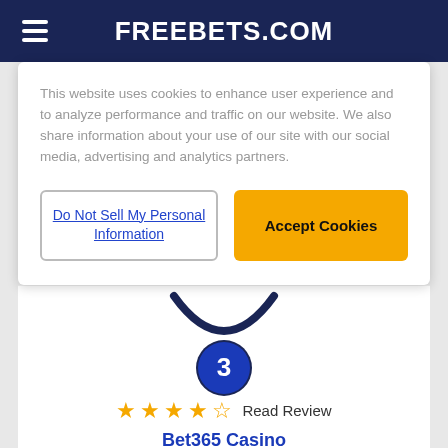FREEBETS.COM
This website uses cookies to enhance user experience and to analyze performance and traffic on our website. We also share information about your use of our site with our social media, advertising and analytics partners.
Do Not Sell My Personal Information | Accept Cookies
[Figure (infographic): Rank badge showing number 3 in a dark blue circle with a dark blue arc/necklace shape above it]
★★★★☆ Read Review
Bet365 Casino
Stake £10 Get 50 Free Spins
Terms & Conditions Apply